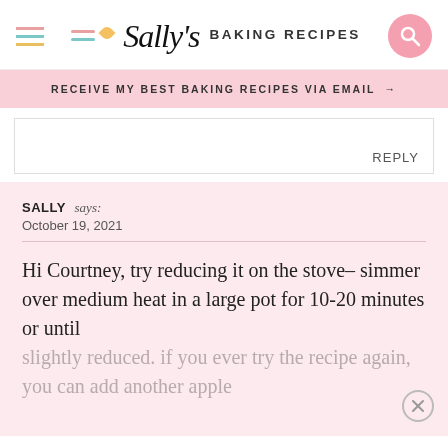Sally's Baking Recipes
RECEIVE MY BEST BAKING RECIPES VIA EMAIL →
REPLY
SALLY says: October 19, 2021
Hi Courtney, try reducing it on the stove– simmer over medium heat in a large pot for 10-20 minutes or until slightly reduced. if you ever try the recipe again, you can add another apple